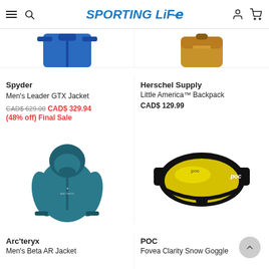Sporting Life
[Figure (photo): Spyder Men's Leader GTX Jacket product image (blue jacket, cropped top portion visible)]
Spyder
Men's Leader GTX Jacket
CAD$ 629.00 CAD$ 329.94
(48% off) Final Sale
[Figure (photo): Herschel Supply Little America Backpack product image (mustard/golden yellow backpack, cropped top portion visible)]
Herschel Supply
Little America™ Backpack
CAD$ 129.99
[Figure (photo): Arc'teryx Men's Beta AR Jacket product image (teal/blue jacket with hood)]
Arc'teryx
Men's Beta AR Jacket
[Figure (photo): POC Fovea Clarity Snow Goggle product image (black frame with yellow/gold mirrored lens)]
POC
Fovea Clarity Snow Goggle